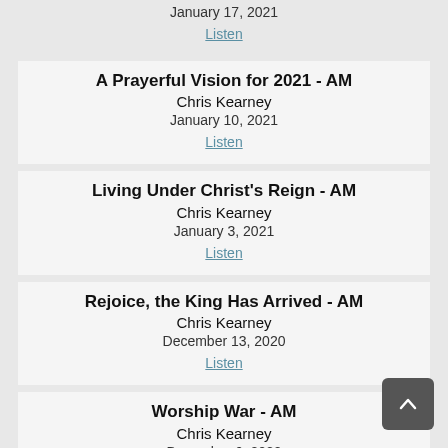January 17, 2021
Listen
A Prayerful Vision for 2021 - AM
Chris Kearney
January 10, 2021
Listen
Living Under Christ's Reign - AM
Chris Kearney
January 3, 2021
Listen
Rejoice, the King Has Arrived - AM
Chris Kearney
December 13, 2020
Listen
Worship War - AM
Chris Kearney
December 6, 2020